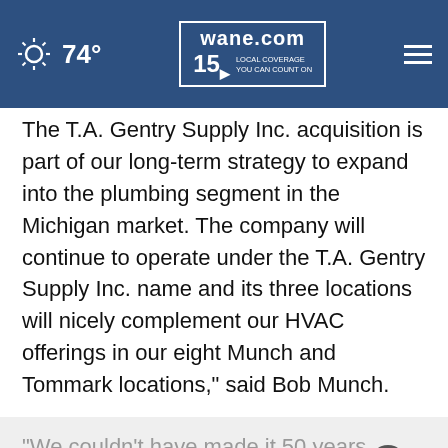74° wane.com 15 LOCAL COVERAGE YOU CAN COUNT ON
The T.A. Gentry Supply Inc. acquisition is part of our long-term strategy to expand into the plumbing segment in the Michigan market. The company will continue to operate under the T.A. Gentry Supply Inc. name and its three locations will nicely complement our HVAC offerings in our eight Munch and Tommark locations," said Bob Munch.
"We couldn't have made it 50 years without the tremendous support from our customers and team members. I am very happy to find a